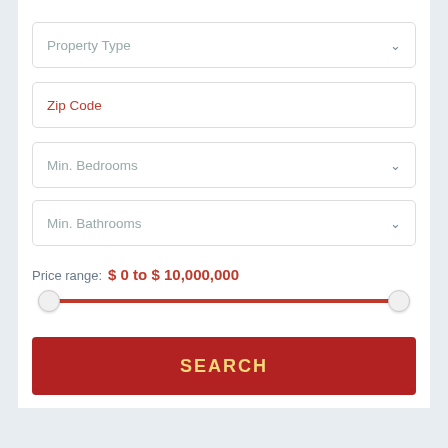Property Type (dropdown)
Zip Code (input, highlighted red)
Min. Bedrooms (dropdown)
Min. Bathrooms (dropdown)
Price range: $ 0 to $ 10,000,000
[Figure (other): Horizontal price range slider, red track, two circular thumbs at far left and far right ends]
SEARCH